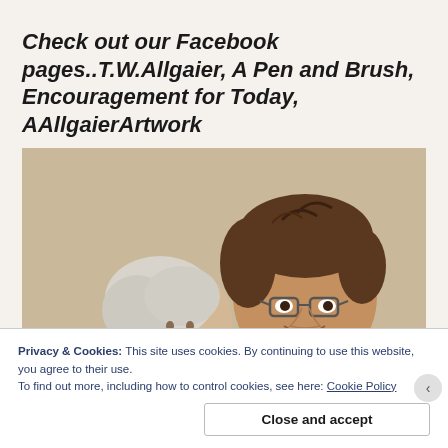Check out our Facebook pages..T.W.Allgaier, A Pen and Brush, Encouragement for Today, AAllgaierArtwork
[Figure (photo): Two people, a man and a woman, photographed together. The man has brown hair and glasses and is smiling. The woman has curly gray/white hair and is leaning against the man. Background is a plain beige/tan wall.]
Privacy & Cookies: This site uses cookies. By continuing to use this website, you agree to their use.
To find out more, including how to control cookies, see here: Cookie Policy
Close and accept